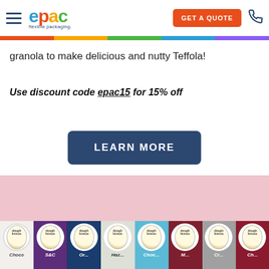epac flexible packaging — GET A QUOTE
granola to make delicious and nutty Teffola!
Use discount code epac15 for 15% off
LEARN MORE
[Figure (photo): Pink background product photo showing multiple Doughlicious branded cookie dough packages in various colors (white, purple, navy, cream, teal, dark red, grey, burgundy) arranged in a row at the bottom, each with a circular badge logo.]